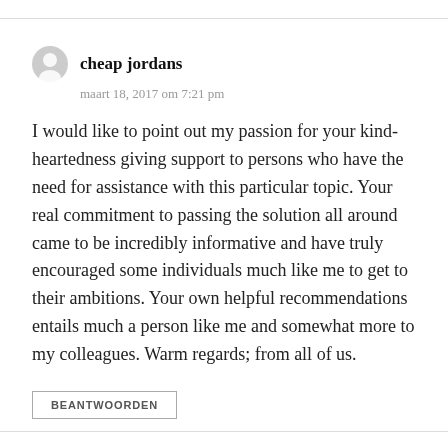cheap jordans
maart 18, 2017 om 7:21 pm
I would like to point out my passion for your kind-heartedness giving support to persons who have the need for assistance with this particular topic. Your real commitment to passing the solution all around came to be incredibly informative and have truly encouraged some individuals much like me to get to their ambitions. Your own helpful recommendations entails much a person like me and somewhat more to my colleagues. Warm regards; from all of us.
BEANTWOORDEN